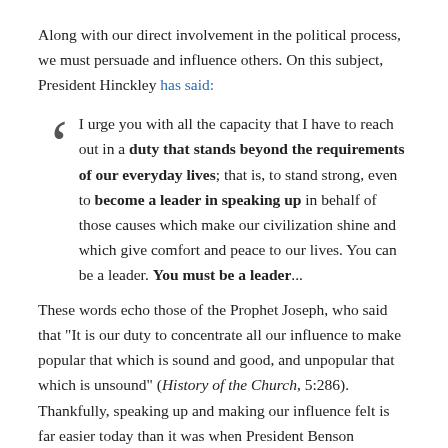Along with our direct involvement in the political process, we must persuade and influence others. On this subject, President Hinckley has said:
I urge you with all the capacity that I have to reach out in a duty that stands beyond the requirements of our everyday lives; that is, to stand strong, even to become a leader in speaking up in behalf of those causes which make our civilization shine and which give comfort and peace to our lives. You can be a leader. You must be a leader...
These words echo those of the Prophet Joseph, who said that "It is our duty to concentrate all our influence to make popular that which is sound and good, and unpopular that which is unsound" (History of the Church, 5:286). Thankfully, speaking up and making our influence felt is far easier today than it was when President Benson mentioned its importance over two decades ago. Elder M. Russell